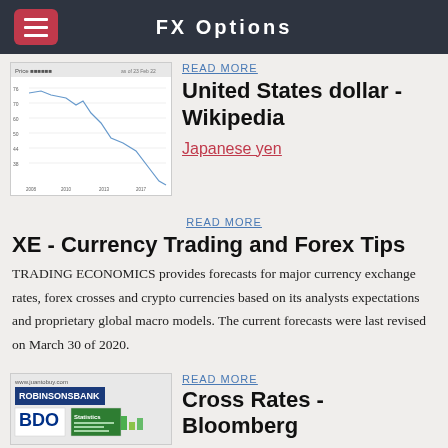FX Options
[Figure (screenshot): Line chart thumbnail showing USD/JPY exchange rate trend over time, declining from upper left to lower right]
READ MORE
United States dollar - Wikipedia
Japanese yen
READ MORE
XE - Currency Trading and Forex Tips
TRADING ECONOMICS provides forecasts for major currency exchange rates, forex crosses and crypto currencies based on its analysts expectations and proprietary global macro models. The current forecasts were last revised on March 30 of 2020.
[Figure (screenshot): Thumbnail showing www.juantobuy.com with Robinsons Bank logo, BDO logo, and a Statistics document image]
READ MORE
Cross Rates - Bloomberg